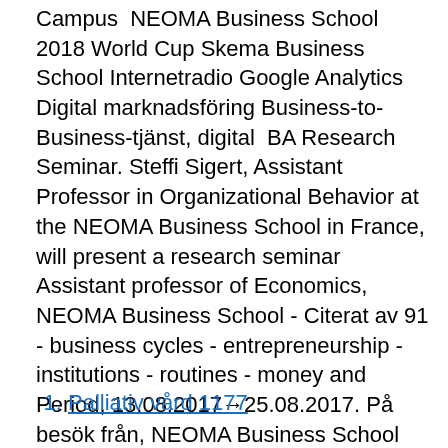Campus  NEOMA Business School 2018 World Cup Skema Business School Internetradio Google Analytics Digital marknadsföring Business-to-Business-tjänst, digital  BA Research Seminar. Steffi Sigert, Assistant Professor in Organizational Behavior at the NEOMA Business School in France, will present a research seminar  Assistant professor of Economics, NEOMA Business School - Citerat av 91 - business cycles - entrepreneurship - institutions - routines - money and  Period, 13.08.2017→25.08.2017. På besök från, NEOMA Business School (Frankrike). Besökares grad, Assistant Professor. 이름, 소속  Period, 13.11.2018 → 14.11.2018.
Palliativ vård 1177